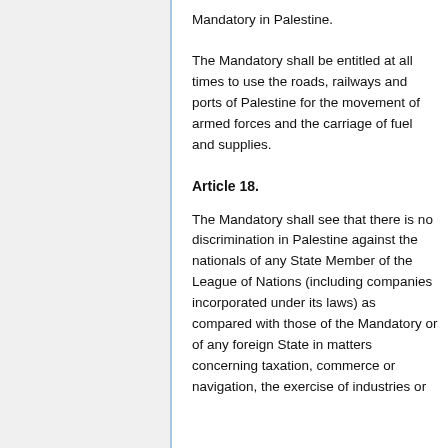Mandatory in Palestine.
The Mandatory shall be entitled at all times to use the roads, railways and ports of Palestine for the movement of armed forces and the carriage of fuel and supplies.
Article 18.
The Mandatory shall see that there is no discrimination in Palestine against the nationals of any State Member of the League of Nations (including companies incorporated under its laws) as compared with those of the Mandatory or of any foreign State in matters concerning taxation, commerce or navigation, the exercise of industries or